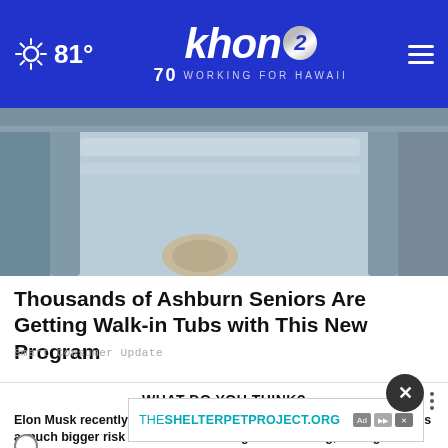81° | khon2 WORKING FOR HAWAII
[Figure (photo): Close-up photo of a walk-in tub interior showing blue/grey tub surface with a round drain plug visible]
Thousands of Ashburn Seniors Are Getting Walk-in Tubs with This New Program
Smart Consumer Update
WHAT DO YOU THINK?
Elon Musk recently said, "Population collapse due to low birth rates is a much bigger risk to civilization than global warming," though he said global warming is "a major risk." To what extent do you agree or disagree with Musk's statement?
[Figure (screenshot): Advertisement banner reading THESHELTERPETPROJECT.ORG with ad disclosure icons]